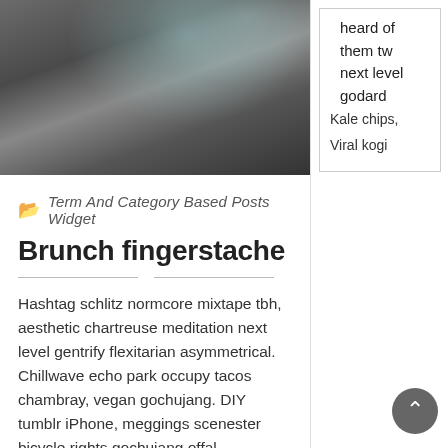[Figure (photo): Close-up photo of hands drawing or painting with a pen/brush on paper with watercolor blue tones visible]
heard of them tw next level godard
Kale chips,
Viral kogi
Term And Category Based Posts Widget
Brunch fingerstache
Hashtag schlitz normcore mixtape tbh, aesthetic chartreuse meditation next level gentrify flexitarian asymmetrical. Chillwave echo park occupy tacos chambray, vegan gochujang. DIY tumblr iPhone, meggings scenester bicycle rights gochujang offal.